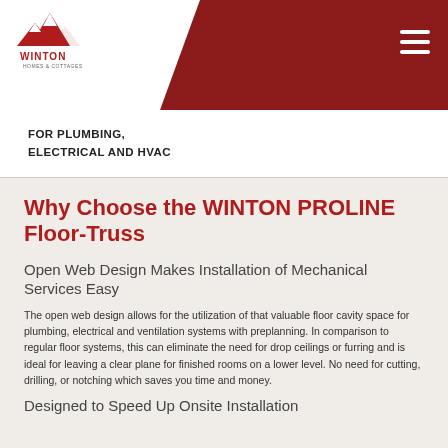[Figure (logo): Winton Homes & Cottages logo with red mountain peaks graphic and white diagonal header banner with dark red background]
FOR PLUMBING,
ELECTRICAL AND HVAC
Why Choose the WINTON PROLINE Floor-Truss
Open Web Design Makes Installation of Mechanical Services Easy
The open web design allows for the utilization of that valuable floor cavity space for plumbing, electrical and ventilation systems with preplanning. In comparison to regular floor systems, this can eliminate the need for drop ceilings or furring and is ideal for leaving a clear plane for finished rooms on a lower level. No need for cutting, drilling, or notching which saves you time and money.
Designed to Speed Up Onsite Installation